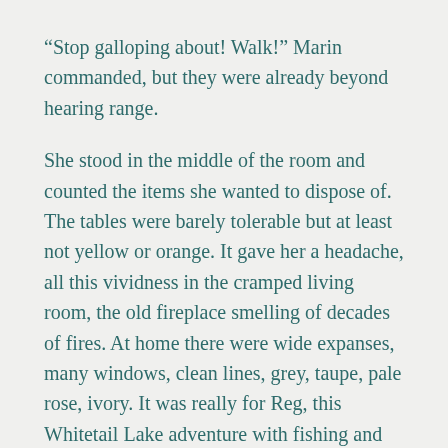“Stop galloping about! Walk!” Marin commanded, but they were already beyond hearing range.
She stood in the middle of the room and counted the items she wanted to dispose of. The tables were barely tolerable but at least not yellow or orange. It gave her a headache, all this vividness in the cramped living room, the old fireplace smelling of decades of fires. At home there were wide expanses, many windows, clean lines, grey, taupe, pale rose, ivory. It was really for Reg, this Whitetail Lake adventure with fishing and hunting, the nature he missed from childhood. Sorely needed at a crucial juncture in his career. And the girls loved it